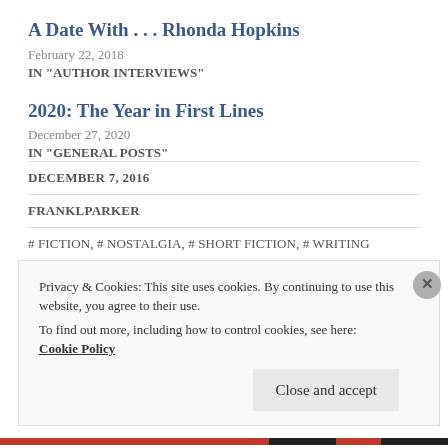A Date With . . . Rhonda Hopkins
February 22, 2018
IN "AUTHOR INTERVIEWS"
2020: The Year in First Lines
December 27, 2020
IN "GENERAL POSTS"
DECEMBER 7, 2016
FRANKLPARKER
# FICTION, # NOSTALGIA, # SHORT FICTION, # WRITING
Privacy & Cookies: This site uses cookies. By continuing to use this website, you agree to their use.
To find out more, including how to control cookies, see here:
Cookie Policy
Close and accept